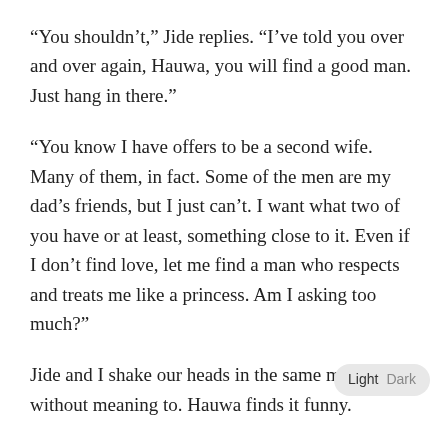“You shouldn’t,” Jide replies. “I’ve told you over and over again, Hauwa, you will find a good man. Just hang in there.”
“You know I have offers to be a second wife. Many of them, in fact. Some of the men are my dad’s friends, but I just can’t. I want what two of you have or at least, something close to it. Even if I don’t find love, let me find a man who respects and treats me like a princess. Am I asking too much?”
Jide and I shake our heads in the same manner without meaning to. Hauwa finds it funny.
“You guys are sooo cute together.”
“We know,” Jide says.